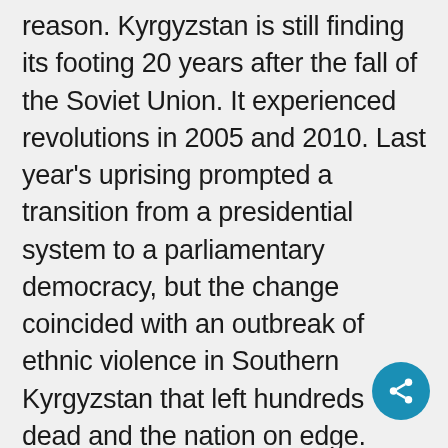reason. Kyrgyzstan is still finding its footing 20 years after the fall of the Soviet Union. It experienced revolutions in 2005 and 2010. Last year's uprising prompted a transition from a presidential system to a parliamentary democracy, but the change coincided with an outbreak of ethnic violence in Southern Kyrgyzstan that left hundreds dead and the nation on edge. Local political scientist Emir Kulov says that's led some people here to associate democracy with instability. And he adds that countries bordering Kyrgyzstan want to keep it that way. "At the moment there is a misunderstanding of what democracy constitutes, generally," Kulov said. "It is not very popular to take democracy as opposite to
[Figure (illustration): Teal/blue circular share button icon in the bottom-right corner of the page]